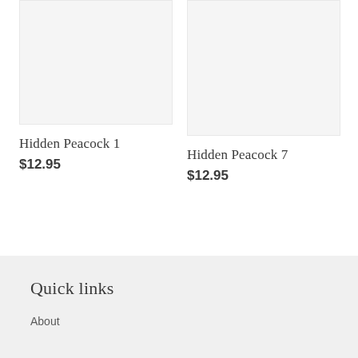[Figure (photo): Product image placeholder for Hidden Peacock 1 — light gray background rectangle]
Hidden Peacock 1
$12.95
[Figure (photo): Product image placeholder for Hidden Peacock 7 — light gray background rectangle]
Hidden Peacock 7
$12.95
Quick links
About